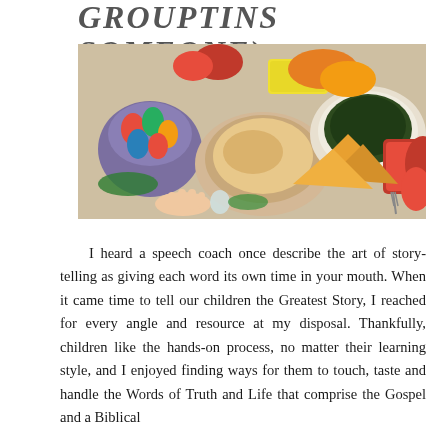GROUPTINS SOMEONE)
[Figure (photo): Overhead view of a festive table spread with multiple dishes including colorful Easter eggs in a basket, a bowl of grain salad, plates of food, vegetables, and various dishes on a patterned tablecloth with a hand reaching in.]
I heard a speech coach once describe the art of story-telling as giving each word its own time in your mouth. When it came time to tell our children the Greatest Story, I reached for every angle and resource at my disposal. Thankfully, children like the hands-on process, no matter their learning style, and I enjoyed finding ways for them to touch, taste and handle the Words of Truth and Life that comprise the Gospel and a Biblical